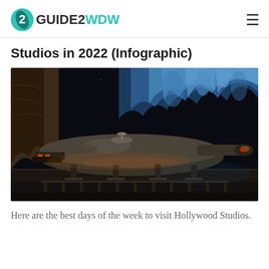GUIDE2WDW
Studios in 2022 (Infographic)
[Figure (photo): Night-time photo of the Millennium Falcon spaceship at Star Wars: Galaxy's Edge in Hollywood Studios, with blue-lit rocky alien landscape in the background.]
Here are the best days of the week to visit Hollywood Studios.